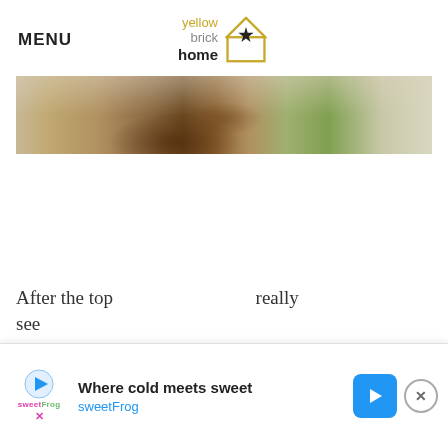MENU
[Figure (logo): Yellow Brick Home logo with house icon containing a star]
[Figure (photo): Outdoor photo strip showing a brown rounded object on dirt/gravel with green grass visible on the right side]
After the top... see
[Figure (other): Advertisement banner: Where cold meets sweet - sweetFrog, with play button icon and blue arrow button]